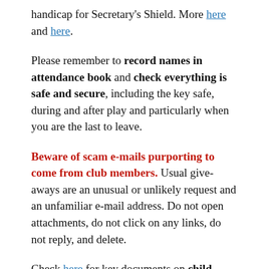handicap for Secretary's Shield. More here and here.
Please remember to record names in attendance book and check everything is safe and secure, including the key safe, during and after play and particularly when you are the last to leave.
Beware of scam e-mails purporting to come from club members. Usual give-aways are an unusual or unlikely request and an unfamiliar e-mail address. Do not open attachments, do not click on any links, do not reply, and delete.
Check here for key documents on child